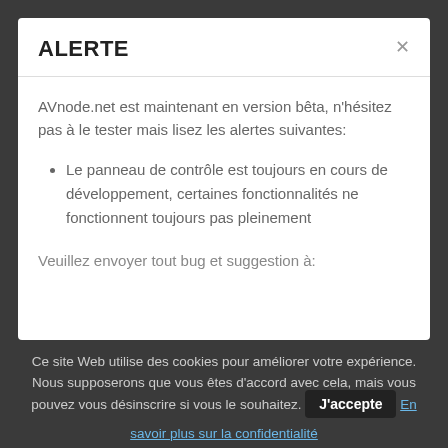ALERTE
AVnode.net est maintenant en version bêta, n'hésitez pas à le tester mais lisez les alertes suivantes:
Le panneau de contrôle est toujours en cours de développement, certaines fonctionnalités ne fonctionnent toujours pas pleinement
Veuillez envoyer tout bug et suggestion à:
Ce site Web utilise des cookies pour améliorer votre expérience. Nous supposerons que vous êtes d'accord avec cela, mais vous pouvez vous désinscrire si vous le souhaitez.
J'accepte
En savoir plus sur la confidentialité